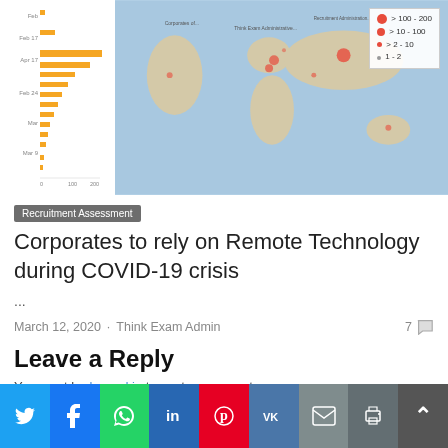[Figure (other): A COVID-19 dashboard showing a bar chart on the left with dates (Feb, Mar, Apr etc.) and orange bars representing case counts, and a world map on the right with dots indicating case locations. A legend shows dot sizes for > 100-200, > 10-100, > 2-10, and 1-2 cases.]
Recruitment Assessment
Corporates to rely on Remote Technology during COVID-19 crisis
...
March 12, 2020 · Think Exam Admin  7
Leave a Reply
You must be logged in to post a comment.